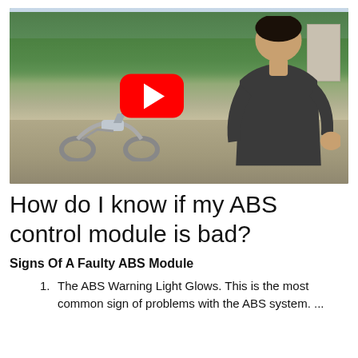[Figure (screenshot): YouTube video thumbnail showing a young man standing next to a motorcycle outdoors with trees in the background. A red YouTube play button is overlaid in the center of the image.]
How do I know if my ABS control module is bad?
Signs Of A Faulty ABS Module
The ABS Warning Light Glows. This is the most common sign of problems with the ABS system. ...